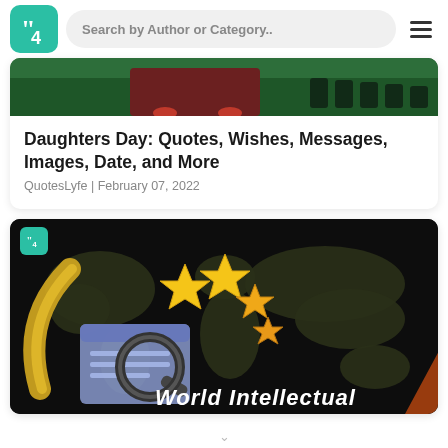Search by Author or Category..
[Figure (screenshot): QuotesLyfe website top navigation bar with teal logo, search bar, and hamburger menu]
[Figure (illustration): Partial top image of Daughters Day article card showing dark green illustrated background]
Daughters Day: Quotes, Wishes, Messages, Images, Date, and More
QuotesLyfe | February 07, 2022
[Figure (illustration): World Intellectual Day article card with dark background, world map, gold stars, magnifying glass with document illustration, and partial text 'World Intellectual']